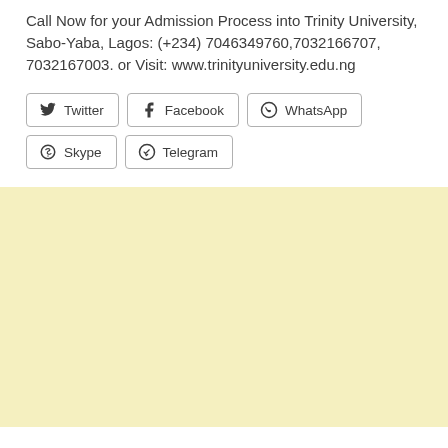Call Now for your Admission Process into Trinity University, Sabo-Yaba, Lagos: (+234) 7046349760,7032166707, 7032167003. or Visit: www.trinityuniversity.edu.ng
Twitter | Facebook | WhatsApp | Skype | Telegram
[Figure (other): Light yellow advertisement banner area at the bottom of the page]